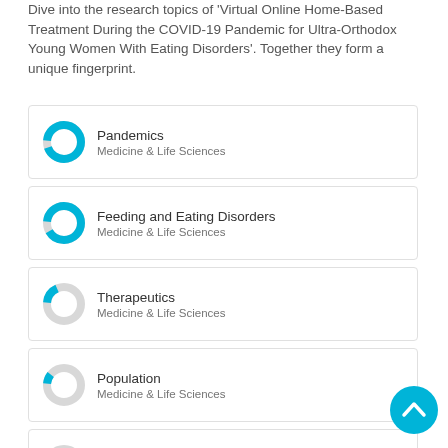Dive into the research topics of 'Virtual Online Home-Based Treatment During the COVID-19 Pandemic for Ultra-Orthodox Young Women With Eating Disorders'. Together they form a unique fingerprint.
[Figure (donut-chart): Pandemics donut chart, mostly filled cyan/blue, Medicine & Life Sciences]
[Figure (donut-chart): Feeding and Eating Disorders donut chart, mostly filled cyan/blue, Medicine & Life Sciences]
[Figure (donut-chart): Therapeutics donut chart, small cyan segment, Medicine & Life Sciences]
[Figure (donut-chart): Population donut chart, very small cyan segment, Medicine & Life Sciences]
[Figure (donut-chart): Mentally Ill Persons donut chart, tiny cyan segment, Medicine & Life Sciences]